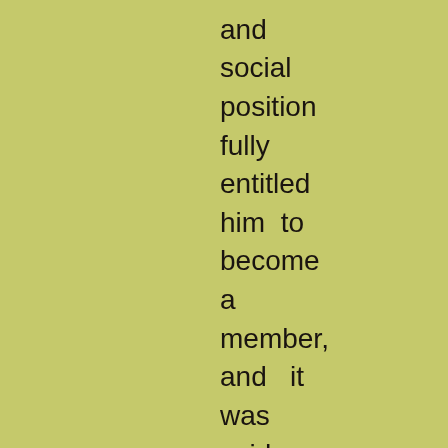birth and social position fully entitled him to become a member, and it was said that on one occasion, when he